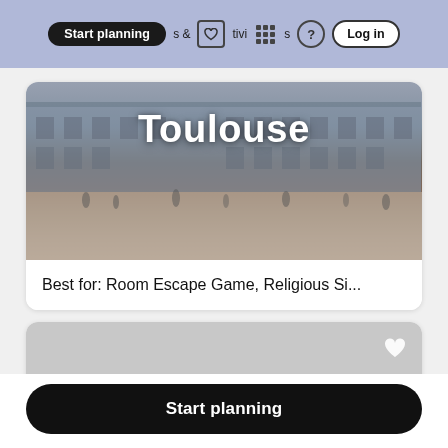Start planning | & activities | ? | Log in
[Figure (photo): Aerial/ground-level photo of Toulouse city square with large classical building facade and open plaza with pedestrians. City name 'Toulouse' overlaid in large white text.]
Best for: Room Escape Game, Religious Si...
[Figure (photo): Placeholder image card with gray background and white heart icon in top-right corner.]
Start planning